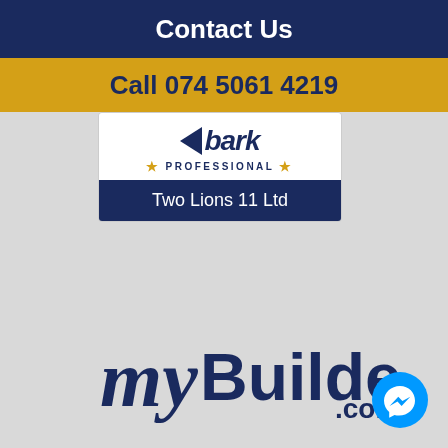Contact Us
Call 074 5061 4219
[Figure (logo): Bark Professional logo with company name Two Lions 11 Ltd]
[Figure (logo): myBuilder.com logo]
[Figure (other): Facebook Messenger chat button (blue circle)]